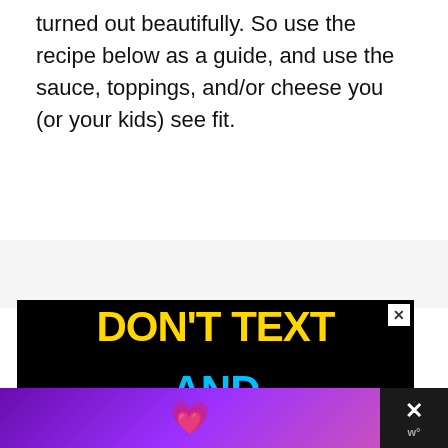turned out beautifully. So use the recipe below as a guide, and use the sauce, toppings, and/or cheese you (or your kids) see fit.
Before I get to the recipe, I want to share some morsels we've learned:
[Figure (screenshot): Advertisement banner with black background showing 'DON'T TEXT' in large yellow bold text and 'AND' in large cyan bold text, with a cartoon character partially visible. Has a close (X) button in top right corner.]
[Figure (screenshot): Bottom advertisement bar with purple gradient background showing a pink heart emoji, and a dark close button with X on the right side showing weather app logo.]